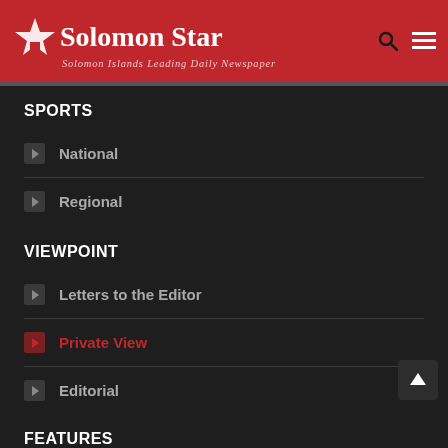[Figure (logo): Solomon Star newspaper logo with red background, white star icon, and text 'Solomon Star - Solomon Islands Leading Daily Newspaper']
SPORTS
National
Regional
VIEWPOINT
Letters to the Editor
Private View
Editorial
FEATURES